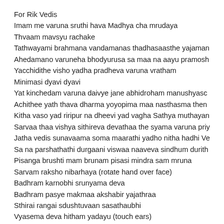For Rik Vedis
Imam me varuna sruthi hava Madhya cha mrudaya
Thvaam mavsyu rachake
Tathwayami brahmana vandamanas thadhasaasthe yajaman
Ahedamano varuneha bhodyurusa sa maa na aayu pramosh
Yacchidithe visho yadha pradheva varuna vratham
Minimasi dyavi dyavi
Yat kinchedam varuna daivye jane abhidroham manushyasc
Achithee yath thava dharma yoyopima maa nasthasma then
Kitha vaso yad riripur na dheevi yad vagha Sathya muthayan
Sarvaa thaa vishya sithireva devathaa the syama varuna priy
Jatha vedis sunavaama soma maarathi yadho nitha hadhi Ve
Sa na parshathathi durgaani viswaa naaveva sindhum durith
Pisanga brushti mam brunam pisasi mindra sam mruna
Sarvam raksho nibarhaya (rotate hand over face)
Badhram karnobhi srunyama deva
Badhram pasye makmaa akshabir yajathraa
Sthirai rangai sdushtuvaan sasathaubhi
Vyasema deva hitham yadayu (touch ears)
Kasya agnim kasas visham kasi niharthi rodani